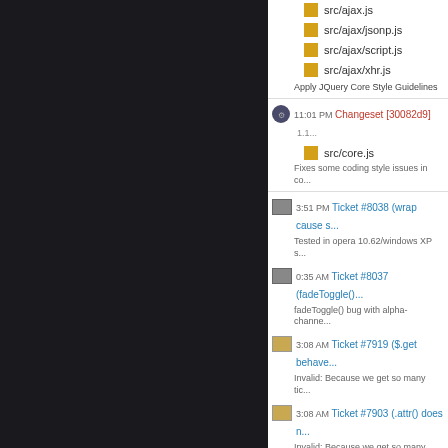src/ajax.js
src/ajax/jsonp.js
src/ajax/script.js
src/ajax/xhr.js
Apply JQuery Core Style Guidelines
11:01 PM Changeset [30082d9] 1.1...
src/core.js
Fixes some coding style issues in co...
3:51 PM Ticket #8038 (wrap cause s...
Tested in opera 10.62/windows XP s...
0:35 AM Ticket #8037 (fadeToggle()...
fadeToggle() bug with alpha-channe...
3:08 AM Ticket #7919 ($.get behave...
Invalid: Because we get so many tic...
3:08 AM Ticket #7903 (.attr() does n...
Invalid: Because we get so many tic...
3:08 AM Ticket #7897 (Descendant ...
Invalid: Because we get so many tic...
JAN 21, 2011:
10:45 PM Changeset [bea4815] 1.1...
src/ajax.js